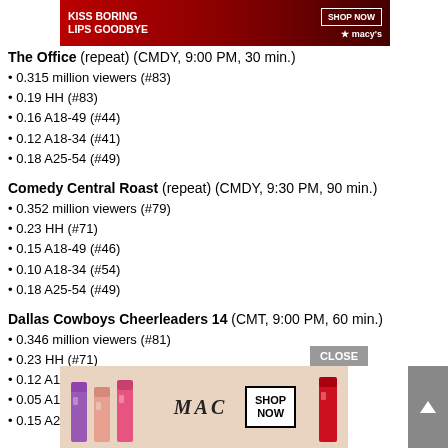[Figure (photo): Macy's lipstick advertisement banner at top: red/dark background with woman's face, 'KISS BORING LIPS GOODBYE' text, SHOP NOW button, and Macy's star logo]
The Office (repeat) (CMDY, 9:00 PM, 30 min.)
0.315 million viewers (#83)
0.19 HH (#83)
0.16 A18-49 (#44)
0.12 A18-34 (#41)
0.18 A25-54 (#49)
Comedy Central Roast (repeat) (CMDY, 9:30 PM, 90 min.)
0.352 million viewers (#79)
0.23 HH (#71)
0.15 A18-49 (#46)
0.10 A18-34 (#54)
0.18 A25-54 (#49)
Dallas Cowboys Cheerleaders 14 (CMT, 9:00 PM, 60 min.)
0.346 million viewers (#81)
0.23 HH (#71)
0.12 A18-49 (#66)
0.05 A18-34 (#91)
0.15 A25-54 (#64)
[Figure (photo): MAC cosmetics advertisement at bottom with lipsticks in purple, peach, pink colors and SHOP NOW button, CLOSE button overlay]